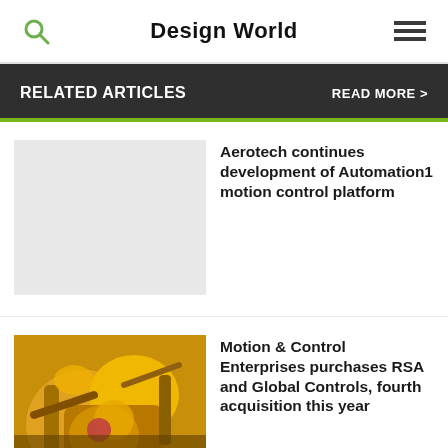Design World
RELATED ARTICLES   READ MORE >
Aerotech continues development of Automation1 motion control platform
[Figure (photo): Yellow industrial robotic arms in a manufacturing facility]
Motion & Control Enterprises purchases RSA and Global Controls, fourth acquisition this year